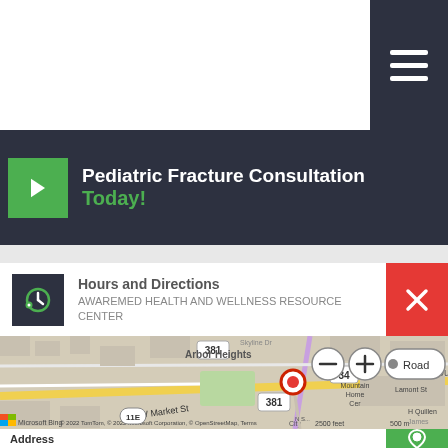Pediatric Fracture Consultation Today!
Hours and Directions
AWAREMED HEALTH AND WELLNESS RESOURCE CENTER
[Figure (map): Street map centered on Arbor Heights area showing W Market St, route 381, route 34, Mountain Home Center location, with a red pin marker. Map controls: zoom in/out buttons, Road view toggle. Copyright 2022 TomTom, Microsoft Corporation, OpenStreetMap.]
Address